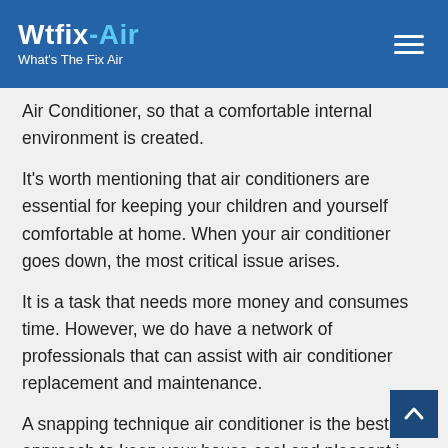Wtfix Air — What's The Fix Air
Air Conditioner, so that a comfortable internal environment is created.
It's worth mentioning that air conditioners are essential for keeping your children and yourself comfortable at home. When your air conditioner goes down, the most critical issue arises.
It is a task that needs more money and consumes time. However, we do have a network of professionals that can assist with air conditioner replacement and maintenance.
A snapping technique air conditioner is the best approach to keep your house cool and pleasant in